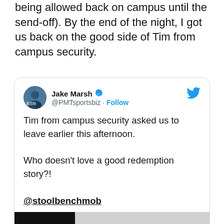being allowed back on campus until the send-off). By the end of the night, I got us back on the good side of Tim from campus security.
[Figure (screenshot): Embedded tweet from Jake Marsh (@PMTsportsbiz) with verified badge and Follow button. Tweet text: 'Tim from campus security asked us to leave earlier this afternoon. Who doesn't love a good redemption story?! @stoolbenchmob'. Includes a Twitter video thumbnail with a 'Watch on Twitter' button and a Seamless advertisement at the bottom.]